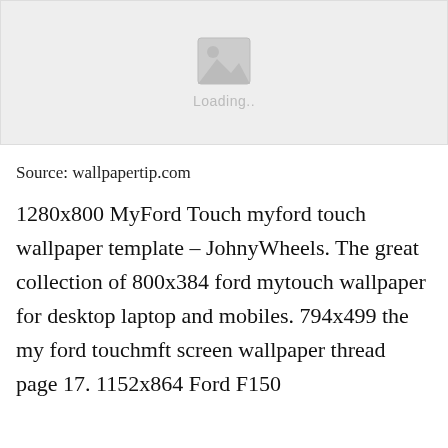[Figure (photo): Image loading placeholder with a grey background, a mountain/image icon in the center, and 'Loading..' text below it]
Source: wallpapertip.com
1280x800 MyFord Touch myford touch wallpaper template – JohnyWheels. The great collection of 800x384 ford mytouch wallpaper for desktop laptop and mobiles. 794x499 the my ford touchmft screen wallpaper thread page 17. 1152x864 Ford F150